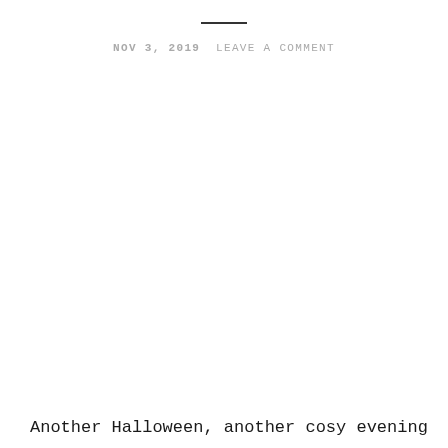NOV 3, 2019 LEAVE A COMMENT
Another Halloween, another cosy evening